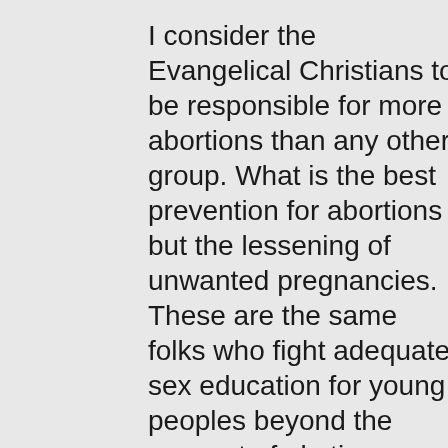I consider the Evangelical Christians to be responsible for more abortions than any other group. What is the best prevention for abortions but the lessening of unwanted pregnancies. These are the same folks who fight adequate sex education for young peoples beyond the concept of abstinence. They are the first ones to yell and scream if they find out that young peoples have easier access to contraceptive products